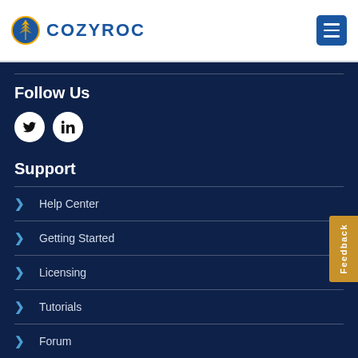COZYROC
Follow Us
[Figure (other): Twitter and LinkedIn social media icon circles]
Support
Help Center
Getting Started
Licensing
Tutorials
Forum